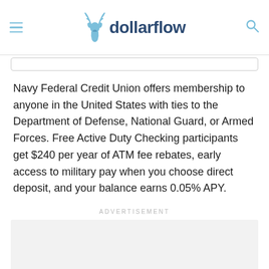dollarflow
Navy Federal Credit Union offers membership to anyone in the United States with ties to the Department of Defense, National Guard, or Armed Forces. Free Active Duty Checking participants get $240 per year of ATM fee rebates, early access to military pay when you choose direct deposit, and your balance earns 0.05% APY.
ADVERTISEMENT
[Figure (other): Advertisement placeholder box, light gray background, empty.]